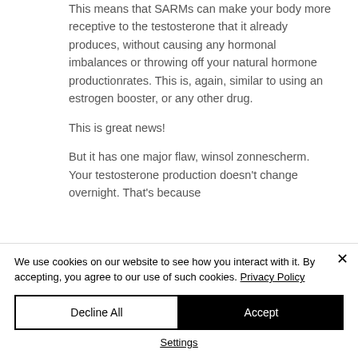This means that SARMs can make your body more receptive to the testosterone that it already produces, without causing any hormonal imbalances or throwing off your natural hormone productionrates. This is, again, similar to using an estrogen booster, or any other drug.
This is great news!
But it has one major flaw, winsol zonnescherm. Your testosterone production doesn't change overnight. That's because
We use cookies on our website to see how you interact with it. By accepting, you agree to our use of such cookies. Privacy Policy
Decline All
Accept
Settings